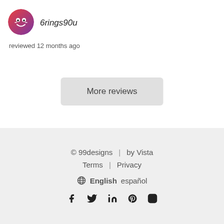[Figure (illustration): User avatar: cartoon face on gradient red-purple circular background]
6rings90u
reviewed 12 months ago
More reviews
© 99designs | by Vista
Terms | Privacy
English español
Social media icons: Facebook, Twitter, LinkedIn, Pinterest, Instagram